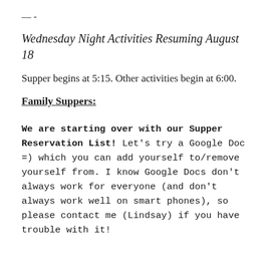— -
Wednesday Night Activities Resuming August 18
Supper begins at 5:15. Other activities begin at 6:00.
Family Suppers:
We are starting over with our Supper Reservation List! Let's try a Google Doc =) which you can add yourself to/remove yourself from. I know Google Docs don't always work for everyone (and don't always work well on smart phones), so please contact me (Lindsay) if you have trouble with it!